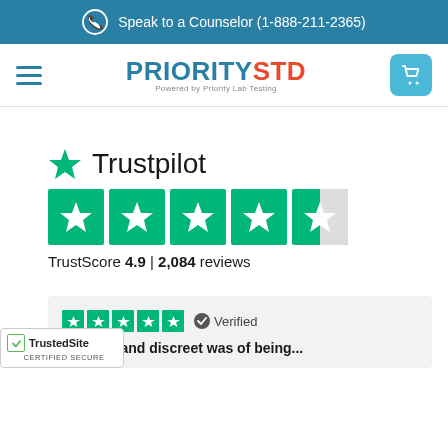Speak to a Counselor (1-888-211-2365)
[Figure (logo): PrioritySTD logo - PRIORITY in blue, STD in orange-red, Powered by Priority Lab Testing subtitle]
[Figure (infographic): Trustpilot rating widget showing 4.9 TrustScore with 5 green star boxes and 2,084 reviews]
TrustScore 4.9 | 2,084 reviews
[Figure (infographic): Review card with 5 green star boxes, Verified badge, and partial review text]
...y easy and discreet was of being...
[Figure (logo): TrustedSite Certified Secure badge]